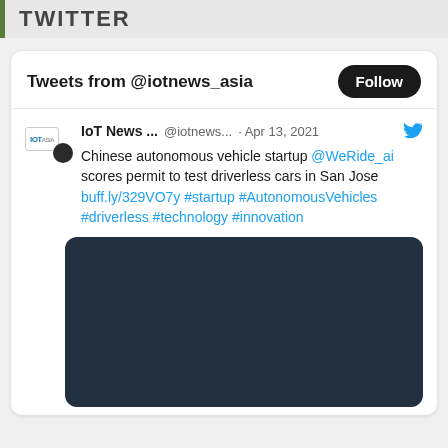TWITTER
Tweets from @iotnews_asia
IoT News ...  @iotnews...  · Apr 13, 2021
Chinese autonomous vehicle startup @WeRide_ai scores permit to test driverless cars in San Jose buff.ly/329VO7y #startup #AutonomousVehicles #driverless #technology #innovation
[Figure (photo): Dark teal/navy blue image placeholder rectangle, rounded corners]